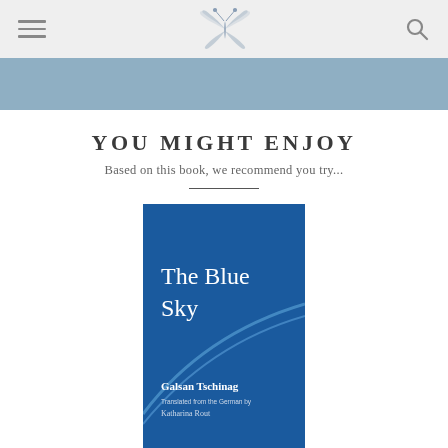Navigation bar with hamburger menu, butterfly logo, and search icon
YOU MIGHT ENJOY
Based on this book, we recommend you try...
[Figure (illustration): Book cover of 'The Blue Sky' by Galsan Tschinag, translated from the German by Katharina Rout. Blue background with white arc curve and white text.]